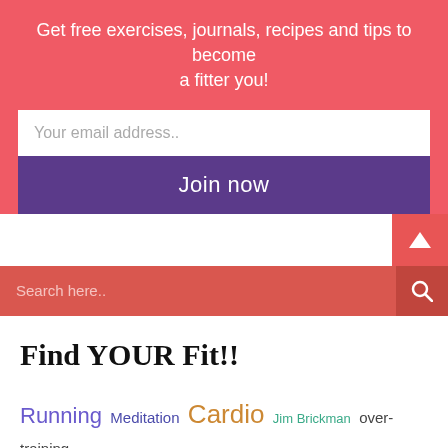Get free exercises, journals, recipes and tips to become a fitter you!
Your email address..
Join now
Search here..
Find YOUR Fit!!
Running Meditation Cardio Jim Brickman over-training
Inspiration New Year Get fit Get Centered Fitness HEAL
QC Travel Desk Job Resolutions Monday Moves Home Bunny